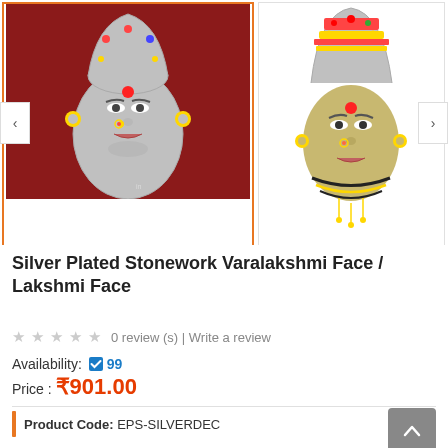[Figure (photo): Two silver plated Varalakshmi / Lakshmi face idol images in a carousel with orange border on left image and grey border on right]
Silver Plated Stonework Varalakshmi Face / Lakshmi Face
0 review (s) | Write a review
Availability: ✓ 99
Price : ₹901.00
Product Code: EPS-SILVERDEC